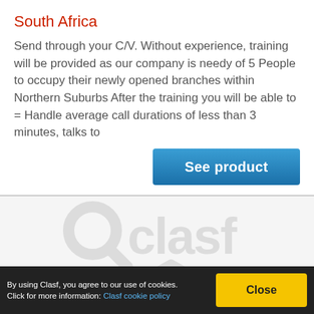South Africa
Send through your C/V. Without experience, training will be provided as our company is needy of 5 People to occupy their newly opened branches within Northern Suburbs After the training you will be able to = Handle average call durations of less than 3 minutes,  talks to
[Figure (logo): Oclasf watermark logo in light grey on a light grey background]
By using Clasf, you agree to our use of cookies. Click for more information: Clasf cookie policy